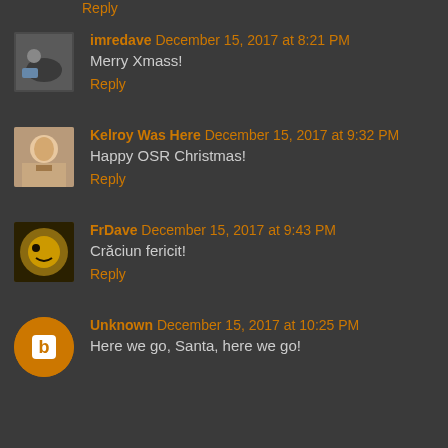Reply
imredave December 15, 2017 at 8:21 PM
Merry Xmass!
Reply
Kelroy Was Here December 15, 2017 at 9:32 PM
Happy OSR Christmas!
Reply
FrDave December 15, 2017 at 9:43 PM
Crăciun fericit!
Reply
Unknown December 15, 2017 at 10:25 PM
Here we go, Santa, here we go!